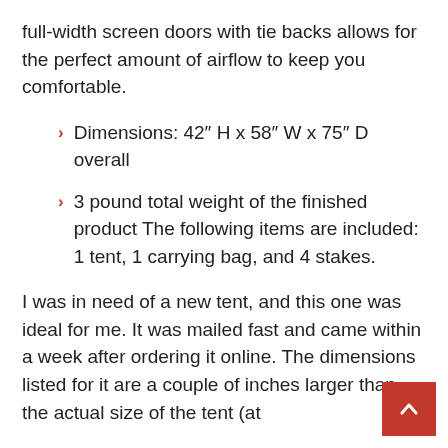full-width screen doors with tie backs allows for the perfect amount of airflow to keep you comfortable.
Dimensions: 42″ H x 58″ W x 75″ D overall
3 pound total weight of the finished product The following items are included: 1 tent, 1 carrying bag, and 4 stakes.
I was in need of a new tent, and this one was ideal for me. It was mailed fast and came within a week after ordering it online. The dimensions listed for it are a couple of inches larger than the actual size of the tent (at least from front to back), but not a self issue.